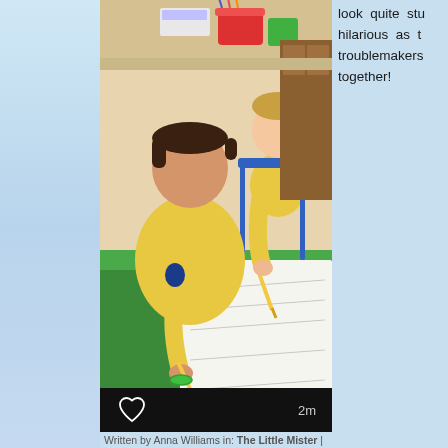[Figure (photo): Two young boys in yellow school uniforms sitting at a green classroom table. The boy on the left holds a pencil while looking at papers; the boy on the right writes on a worksheet. Classroom supplies visible in background.]
look quite stu... hilarious as t... troublemakers together!
Written by Anna Williams in: The Little Mister |